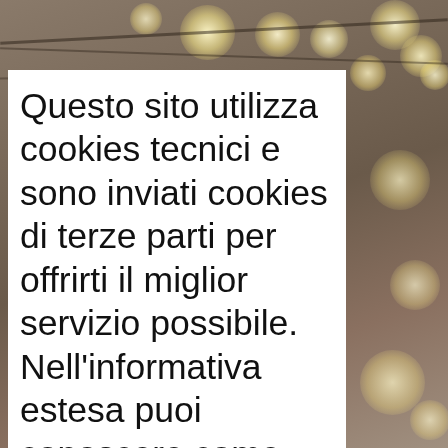[Figure (photo): Blurred background photo of string/fairy lights (bokeh effect) with warm golden light orbs against a dark background, partially visible behind a white overlay card.]
Questo sito utilizza cookies tecnici e sono inviati cookies di terze parti per offrirti il miglior servizio possibile. Nell'informativa estesa puoi conoscere come